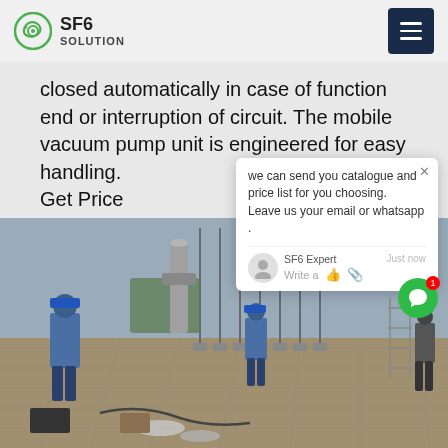SF6 SOLUTION
closed automatically in case of function end or interruption of circuit. The mobile vacuum pump unit is engineered for easy handling.
Get Price
[Figure (photo): Workers in blue hard hats and overalls working at an electrical substation, with various equipment and components on the ground.]
we can send you catalogue and price list for you choosing. Leave us your email or whatsapp . SF6 Expert just now Write a